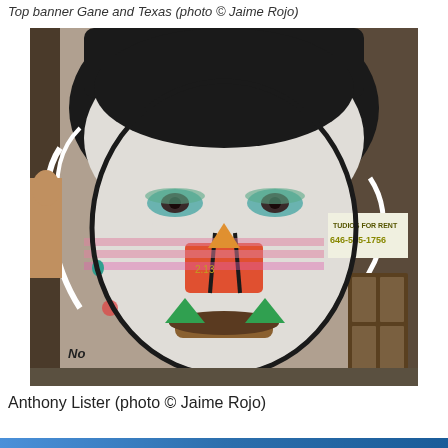Top banner Gane and Texas (photo © Jaime Rojo)
[Figure (photo): Large street art mural of a face painted on a building wall. The face has black hair, green eye shadow, a red nose, and a cigar in the mouth. There are additional decorative elements and graffiti. On the right side of the building there is a sign reading 'STUDIOS FOR RENT 646-595-1756' and an old wooden door. On the left side is part of another mural.]
Anthony Lister (photo © Jaime Rojo)